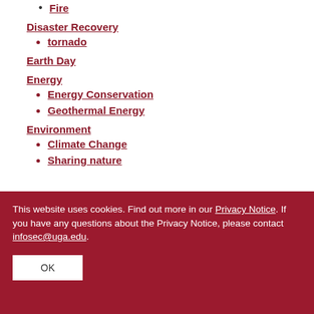Fire
Disaster Recovery
tornado
Earth Day
Energy
Energy Conservation
Geothermal Energy
Environment
Climate Change
Sharing nature
This website uses cookies. Find out more in our Privacy Notice. If you have any questions about the Privacy Notice, please contact infosec@uga.edu.
OK